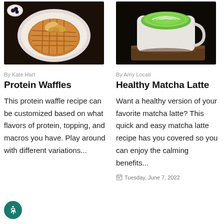[Figure (photo): Overhead photo of a protein waffle on a white plate, topped with apple chips, with a small bowl of blueberries on the side, on a dark background.]
[Figure (photo): Photo of a matcha latte in a white cup with latte art, placed on a wooden saucer on a dark background.]
By Kate Hart
By Amy Locati
Protein Waffles
Healthy Matcha Latte
This protein waffle recipe can be customized based on what flavors of protein, topping, and macros you have. Play around with different variations...
Want a healthy version of your favorite matcha latte? This quick and easy matcha latte recipe has you covered so you can enjoy the calming benefits...
Tuesday, June 7, 2022